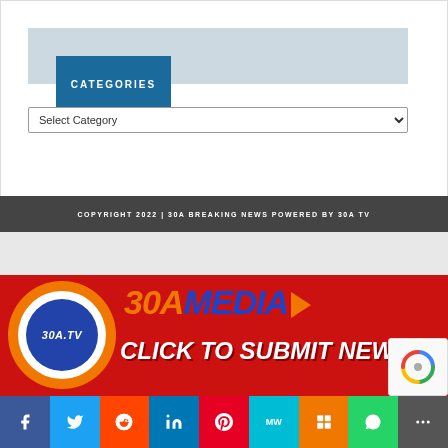CATEGORIES
Select Category
COPYRIGHT 2022 | 30A BREAKING NEWS POWERED BY 30A TV
[Figure (logo): 30A Media logo with 30A.TV circle logo on left and 30AMEDIA text with play button on right, and 'CLICK TO SUBMIT NEWS' tagline below on red background]
[Figure (logo): reCAPTCHA badge with spinning arrows logo]